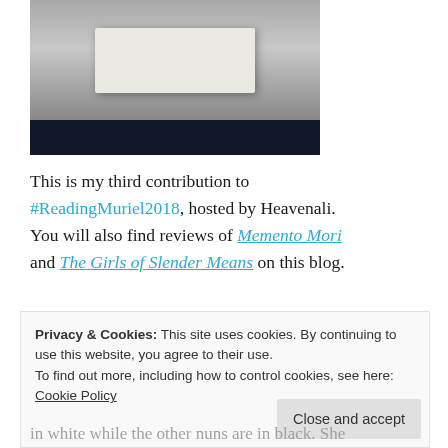[Figure (photo): Photograph of a book (likely The Abbess of Crewe) on a dark surface, top portion visible]
This is my third contribution to #ReadingMuriel2018, hosted by Heavenali. You will also find reviews of Memento Mori and The Girls of Slender Means on this blog.
The Abbess of Crewe  by Muriel Spark
The novel opens as the newly elected Abbess of Crewe, Sister Alexandra, speaks with the naïve
Privacy & Cookies: This site uses cookies. By continuing to use this website, you agree to their use.
To find out more, including how to control cookies, see here: Cookie Policy
in white while the other nuns are in black. She